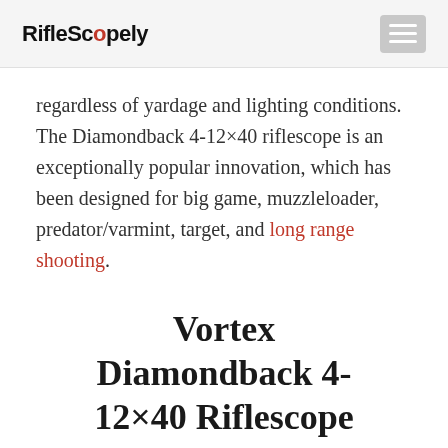RifleScopely
regardless of yardage and lighting conditions. The Diamondback 4-12×40 riflescope is an exceptionally popular innovation, which has been designed for big game, muzzleloader, predator/varmint, target, and long range shooting.
Vortex Diamondback 4-12×40 Riflescope Features